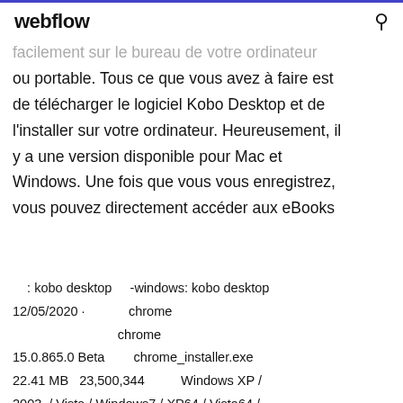webflow
facilement sur le bureau de votre ordinateur ou portable. Tous ce que vous avez à faire est de télécharger le logiciel Kobo Desktop et de l'installer sur votre ordinateur. Heureusement, il y a une version disponible pour Mac et Windows. Une fois que vous vous enregistrez, vous pouvez directement accéder aux eBooks
: kobo desktop    -windows: kobo desktop 12/05/2020 ·              chrome                                               chrome 15.0.865.0 Beta          chrome_installer.exe 22.41 MB   23,500,344              Windows XP / 2003  / Vista / Windows7 / XP64 / Vista64 / Windows7 64 ... Get Kobo Books - Microsoft